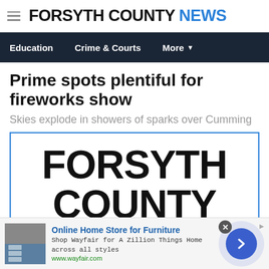FORSYTH COUNTY NEWS
Education | Crime & Courts | More
Prime spots plentiful for fireworks show
Skies explode in showers of sparks over Cumming
[Figure (logo): Forsyth County logo/placeholder image showing large bold text: FORSYTH COUNTY]
Online Home Store for Furniture
Shop Wayfair for A Zillion Things Home across all styles
www.wayfair.com